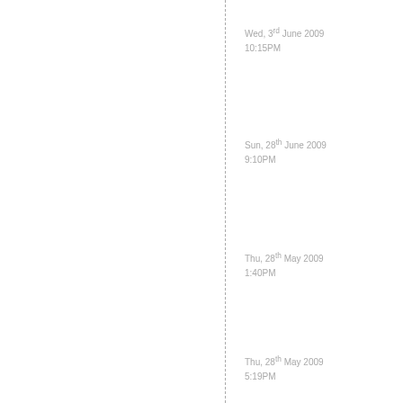Wed, 3rd June 2009
10:15PM
Sun, 28th June 2009
9:10PM
Thu, 28th May 2009
1:40PM
Thu, 28th May 2009
5:19PM